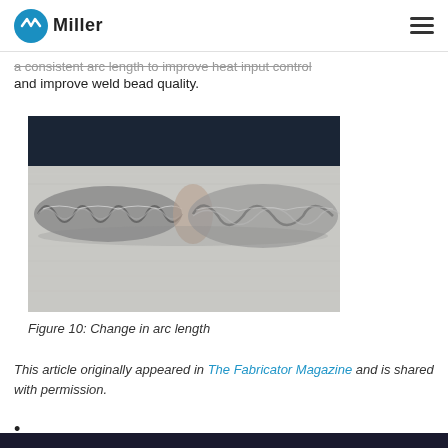Miller
a consistent arc length to improve heat input control and improve weld bead quality.
[Figure (photo): Close-up photograph of a weld bead showing a change in arc length. The left portion shows a tighter, more consistent spiral weld pattern while the right portion shows a wider, more irregular bead pattern on a metallic surface.]
Figure 10: Change in arc length
This article originally appeared in The Fabricator Magazine and is shared with permission.